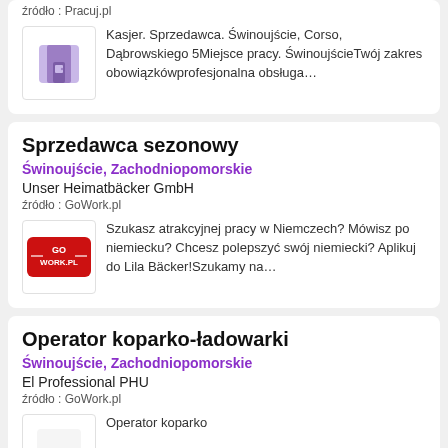źródło : Pracuj.pl
[Figure (logo): Purple building/door icon logo]
Kasjer. Sprzedawca. Świnoujście, Corso, Dąbrowskiego 5Miejsce pracy. ŚwinoujścieTwój zakres obowiązkówprofesjonalna obsługa…
Sprzedawca sezonowy
Świnoujście, Zachodniopomorskie
Unser Heimatbäcker GmbH
źródło : GoWork.pl
[Figure (logo): GoWork.pl red logo]
Szukasz atrakcyjnej pracy w Niemczech? Mówisz po niemiecku? Chcesz polepszyć swój niemiecki? Aplikuj do Lila Bäcker!Szukamy na…
Operator koparko-ładowarki
Świnoujście, Zachodniopomorskie
El Professional PHU
źródło : GoWork.pl
Operator koparko